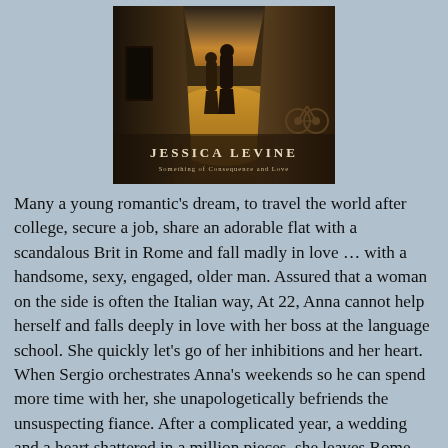[Figure (photo): Book cover showing two people walking on a cobblestone street in golden light, with the author name JESSICA LEVINE displayed]
Many a young romantic's dream, to travel the world after college, secure a job, share an adorable flat with a scandalous Brit in Rome and fall madly in love … with a handsome, sexy, engaged, older man. Assured that a woman on the side is often the Italian way, At 22, Anna cannot help herself and falls deeply in love with her boss at the language school. She quickly let's go of her inhibitions and her heart. When Sergio orchestrates Anna's weekends so he can spend more time with her, she unapologetically befriends the unsuspecting fiance. After a complicated year, a wedding and a heart shattered in a million pieces, she leaves Rome. Twenty-five years later Sergio contacts her. Anna must decide if she can share her deepest darkest secrets that may change her life forever. I read this story of romance and family, loyalty and deception in one single